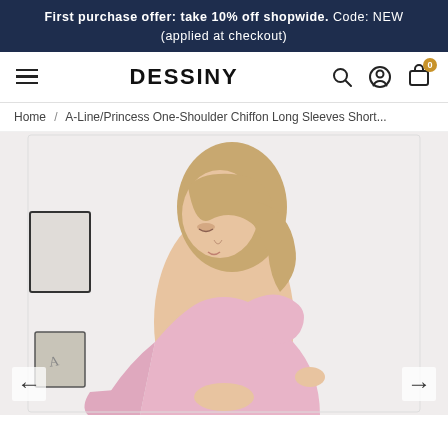First purchase offer: take 10% off shopwide. Code: NEW (applied at checkout)
DESSINY
Home / A-Line/Princess One-Shoulder Chiffon Long Sleeves Short...
[Figure (photo): A young blonde woman wearing a pink one-shoulder chiffon dress with long sleeves and a cutout waist, posing with one hand on her hip against a white background.]